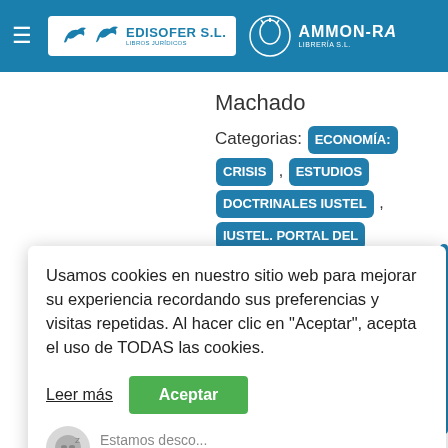EDISOFER S.L. LIBROS JURÍDICOS | AMMON-RA LIBRERÍA S.L.
Machado
Categorias: ECONOMÍA: CRISIS , ESTUDIOS DOCTRINALES IUSTEL , IUSTEL. PORTAL DEL DERECHO , POLITICA
Usamos cookies en nuestro sitio web para mejorar su experiencia recordando sus preferencias y visitas repetidas. Al hacer clic en "Aceptar", acepta el uso de TODAS las cookies.
Leer más
Aceptar
Estamos desco... Deja un mensaje